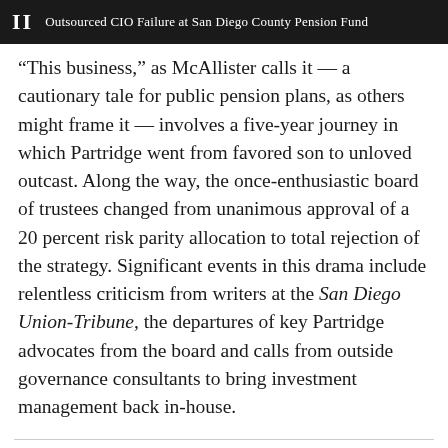II  Outsourced CIO Failure at San Diego County Pension Fund
“This business,” as McAllister calls it — a cautionary tale for public pension plans, as others might frame it — involves a five-year journey in which Partridge went from favored son to unloved outcast. Along the way, the once-enthusiastic board of trustees changed from unanimous approval of a 20 percent risk parity allocation to total rejection of the strategy. Significant events in this drama include relentless criticism from writers at the San Diego Union-Tribune, the departures of key Partridge advocates from the board and calls from outside governance consultants to bring investment management back in-house.
[Figure (other): Social sharing icons: Facebook (f), Twitter (bird), and a plus (+) button, displayed as grey circles at the bottom of the page.]